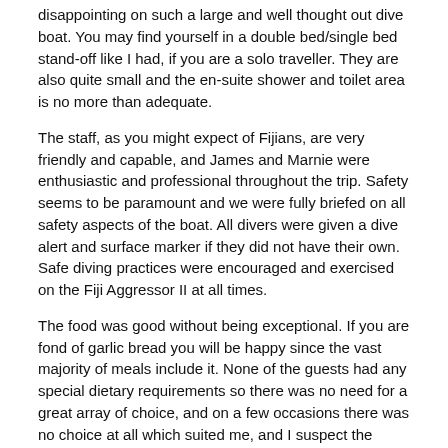disappointing on such a large and well thought out dive boat. You may find yourself in a double bed/single bed stand-off like I had, if you are a solo traveller. They are also quite small and the en-suite shower and toilet area is no more than adequate.
The staff, as you might expect of Fijians, are very friendly and capable, and James and Marnie were enthusiastic and professional throughout the trip. Safety seems to be paramount and we were fully briefed on all safety aspects of the boat. All divers were given a dive alert and surface marker if they did not have their own. Safe diving practices were encouraged and exercised on the Fiji Aggressor II at all times.
The food was good without being exceptional. If you are fond of garlic bread you will be happy since the vast majority of meals include it. None of the guests had any special dietary requirements so there was no need for a great array of choice, and on a few occasions there was no choice at all which suited me, and I suspect the other guests, fine. Marnie however is gluten and wheat intolerant so the kitchen staff are accustomed to catering for such needs.
The Verdict